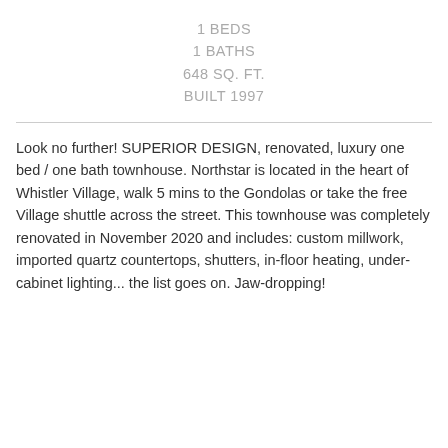1 BEDS
1 BATHS
648 SQ. FT.
BUILT 1997
Look no further! SUPERIOR DESIGN, renovated, luxury one bed / one bath townhouse. Northstar is located in the heart of Whistler Village, walk 5 mins to the Gondolas or take the free Village shuttle across the street. This townhouse was completely renovated in November 2020 and includes: custom millwork, imported quartz countertops, shutters, in-floor heating, under-cabinet lighting... the list goes on. Jaw-dropping!